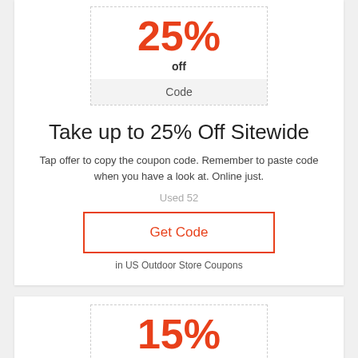25%
off
Code
Take up to 25% Off Sitewide
Tap offer to copy the coupon code. Remember to paste code when you have a look at. Online just.
Used 52
Get Code
in US Outdoor Store Coupons
15%
off